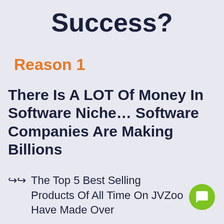Success?
Reason 1
There Is A LOT Of Money In Software Niche… Software Companies Are Making Billions
The Top 5 Best Selling Products Of All Time On JVZoo Have Made Over